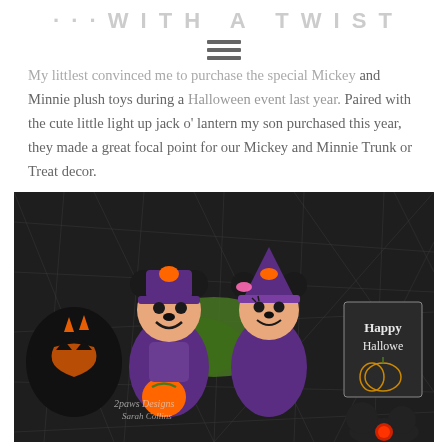· · · W I T H A T W I S T
My littlest convinced me to purchase the special Mickey and Minnie plush toys during a Halloween event last year. Paired with the cute little light up jack o' lantern my son purchased this year, they made a great focal point for our Mickey and Minnie Trunk or Treat decor.
[Figure (photo): Mickey and Minnie Mouse Halloween plush toys dressed in purple witch/wizard costumes with orange pumpkins, sitting on a spider web tablecloth backdrop. Also visible: a jack-o-lantern candy bucket, a 'Happy Halloween' chalkboard sign with pumpkin drawing, and a Mickey Mouse ears hat. Watermark reads '2paws Designs Sarah Collins']